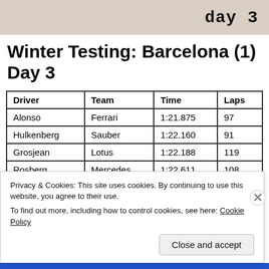[Figure (photo): Photo strip showing 'day 3' text on a textured background]
Winter Testing: Barcelona (1) Day 3
| Driver | Team | Time | Laps |
| --- | --- | --- | --- |
| Alonso | Ferrari | 1:21.875 | 97 |
| Hulkenberg | Sauber | 1:22.160 | 91 |
| Grosjean | Lotus | 1:22.188 | 119 |
| Rosberg | Mercedes | 1:22.611 | 108 |
| Maldonado | Williams | 1:22.675 | 79 |
| Bottas | Williams | 1:22.826 | 68 |
Privacy & Cookies: This site uses cookies. By continuing to use this website, you agree to their use. To find out more, including how to control cookies, see here: Cookie Policy
Close and accept